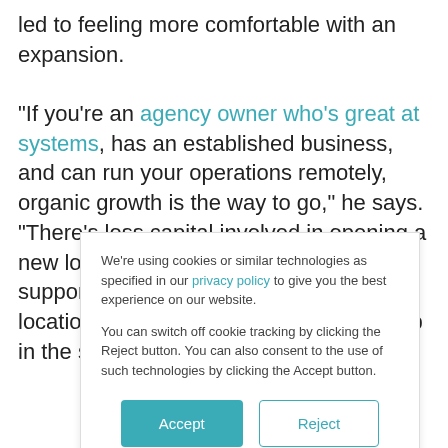led to feeling more comfortable with an expansion. "If you're an agency owner who's great at systems, has an established business, and can run your operations remotely, organic growth is the way to go," he says. "There's less capital involved in opening a new location, if your home branch can support operations at that second location. You will have less money tied up in the short term, and
We're using cookies or similar technologies as specified in our privacy policy to give you the best experience on our website. You can switch off cookie tracking by clicking the Reject button. You can also consent to the use of such technologies by clicking the Accept button.